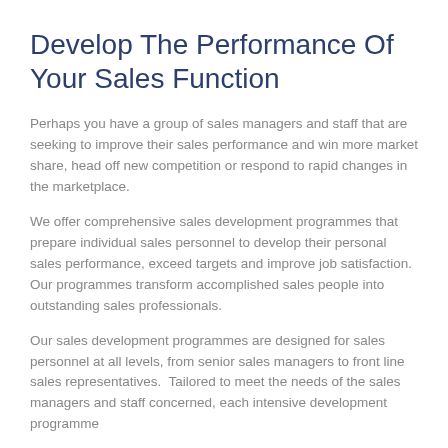Develop The Performance Of Your Sales Function
Perhaps you have a group of sales managers and staff that are seeking to improve their sales performance and win more market share, head off new competition or respond to rapid changes in the marketplace.
We offer comprehensive sales development programmes that prepare individual sales personnel to develop their personal sales performance, exceed targets and improve job satisfaction. Our programmes transform accomplished sales people into outstanding sales professionals.
Our sales development programmes are designed for sales personnel at all levels, from senior sales managers to front line sales representatives.  Tailored to meet the needs of the sales managers and staff concerned, each intensive development programme